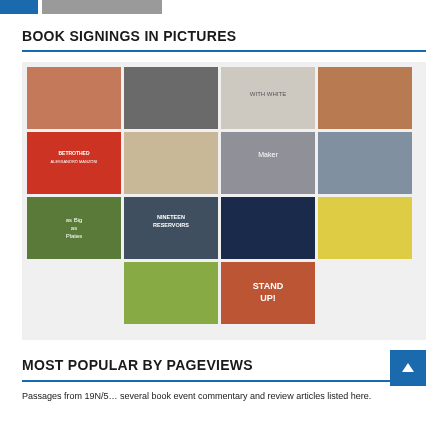BOOK SIGNINGS IN PICTURES
[Figure (photo): A grid gallery of 14 book signing photos and book cover images arranged in a 4-column grid. Row 1: portrait of smiling woman, black and white photo of person, book cover 'With White', portrait of smiling woman. Row 2: book cover 'Betrothed by Alessandro Manzoni', portrait of man with glasses, book cover 'Maker', portrait of man outdoors with bridge. Row 3: book cover 'As Big as Plates', book cover 'Nineteen Reservoirs', photo of musician with trumpet, yellow book cover. Row 4 (centered): portrait of older man, book cover 'Stand Up!'.]
MOST POPULAR BY PAGEVIEWS
Passages from 19N/5… several book event, commentary, and review articles